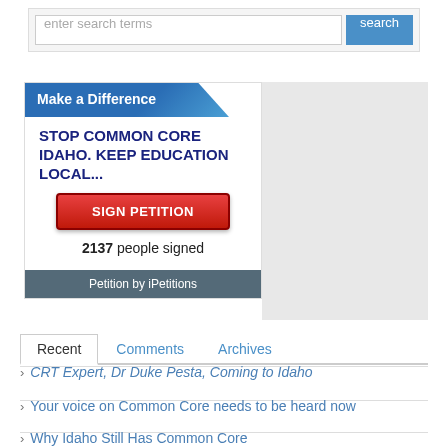[Figure (screenshot): Search bar with text input placeholder 'enter search terms' and blue 'search' button]
[Figure (infographic): iPetitions widget: 'Make a Difference' header, title 'STOP COMMON CORE IDAHO. KEEP EDUCATION LOCAL...', red 'SIGN PETITION' button, '2137 people signed', footer 'Petition by iPetitions']
[Figure (other): Gray advertisement block placeholder]
[Figure (screenshot): Navigation tabs: Recent (active), Comments, Archives]
CRT Expert, Dr Duke Pesta, Coming to Idaho
Your voice on Common Core needs to be heard now
Why Idaho Still Has Common Core